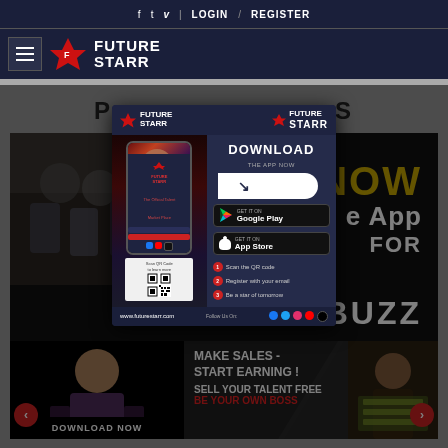f  t  v  LOGIN / REGISTER
[Figure (logo): FutureStarr logo with hamburger menu, red star icon and white FUTURE STARR text on dark navy background]
[Figure (screenshot): FutureStarr app download modal popup showing phone mockup, Download the App Now CTA, Google Play and App Store buttons, 3 steps, QR code, and social icons, overlaid on a webpage with NOW App text, SOCIAL BUZZ banner, and MAKE SALES - START EARNING content]
MAKE SALES - START EARNING !
SELL YOUR TALENT FREE
BE YOUR OWN BOSS
DOWNLOAD NOW
SOCIAL BUZZ
FOR
NOW
e App